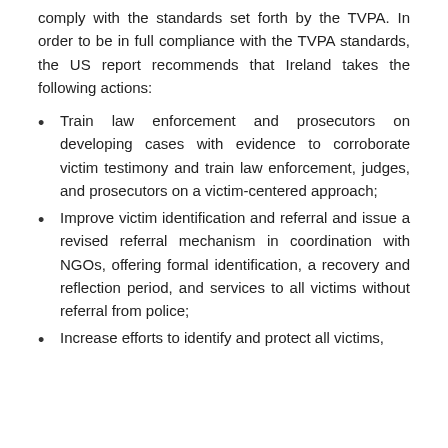comply with the standards set forth by the TVPA. In order to be in full compliance with the TVPA standards, the US report recommends that Ireland takes the following actions:
Train law enforcement and prosecutors on developing cases with evidence to corroborate victim testimony and train law enforcement, judges, and prosecutors on a victim-centered approach;
Improve victim identification and referral and issue a revised referral mechanism in coordination with NGOs, offering formal identification, a recovery and reflection period, and services to all victims without referral from police;
Increase efforts to identify and protect all victims,